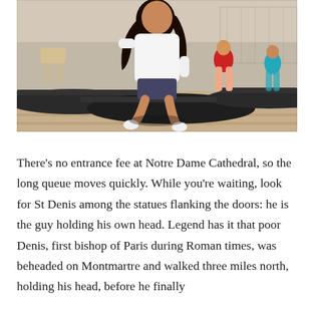[Figure (photo): Children jumping on outdoor trampolines at a public trampoline park. A girl with long dark hair wearing a white t-shirt is prominently mid-jump in the foreground. Other children are visible in the background on adjacent trampolines. The trampolines are black with metal frames, and a chain-link fence is visible in the background.]
There's no entrance fee at Notre Dame Cathedral, so the long queue moves quickly. While you're waiting, look for St Denis among the statues flanking the doors: he is the guy holding his own head. Legend has it that poor Denis, first bishop of Paris during Roman times, was beheaded on Montmartre and walked three miles north, holding his head, before he finally